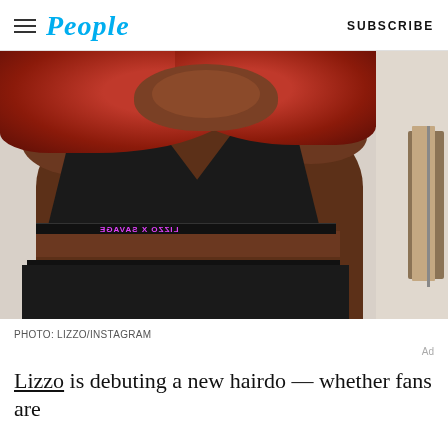People | SUBSCRIBE
[Figure (photo): Lizzo wearing a black crop top and matching high-waisted bottoms with 'Lizzo X Savage' branding band, with bright red curly hair, posed indoors]
PHOTO: LIZZO/INSTAGRAM
Ad
Lizzo is debuting a new hairdo — whether fans are